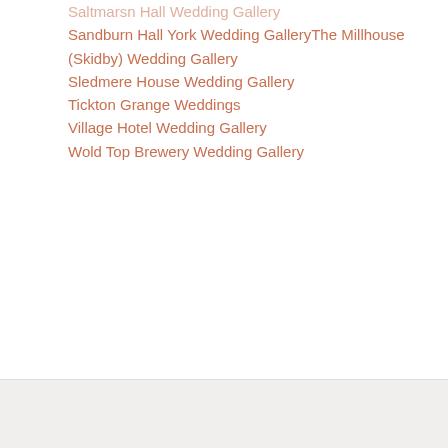Saltmarsn Hall Wedding Gallery
Sandburn Hall York Wedding GalleryThe Millhouse (Skidby) Wedding Gallery
Sledmere House Wedding Gallery
Tickton Grange Weddings
Village Hotel Wedding Gallery
Wold Top Brewery Wedding Gallery